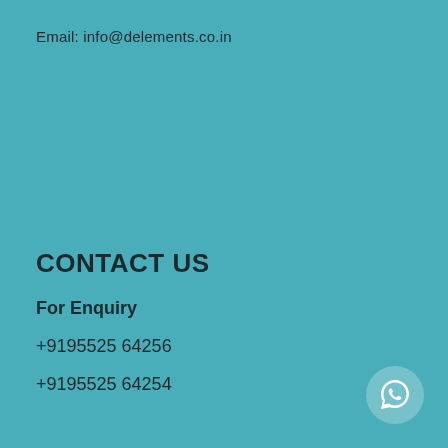Email: info@delements.co.in
CONTACT US
For Enquiry
+9195525 64256
+9195525 64254
[Figure (illustration): WhatsApp icon button in a semi-transparent circle at the bottom right corner]